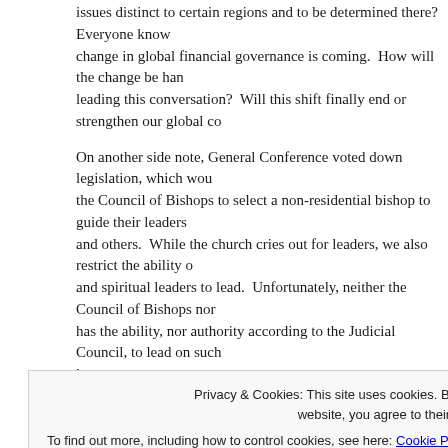issues distinct to certain regions and to be determined there?  Everyone knows a change in global financial governance is coming.  How will the change be handled and who is leading this conversation?  Will this shift finally end or strengthen our global co...
On another side note, General Conference voted down legislation, which would allow the Council of Bishops to select a non-residential bishop to guide their leadership and others.  While the church cries out for leaders, we also restrict the ability of gifted and spiritual leaders to lead.  Unfortunately, neither the Council of Bishops nor... has the ability, nor authority according to the Judicial Council, to lead on such issues.
To the best of my knowledge, no group within our denomination has even begun conversations about what happens next regarding the general church budget and financial governance.  This lack reaffirms the lack of leadership from the general church.  We have only a few important decisions.  Who will lead the dialogue within our Wesleyan connecti...
Conclusion
Privacy & Cookies: This site uses cookies. By continuing to use this website, you agree to their use.
To find out more, including how to control cookies, see here: Cookie Policy
[Close and accept]